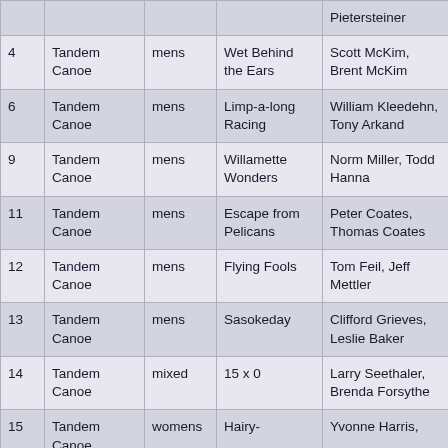| # | Type | Gender | Team Name | Paddlers |
| --- | --- | --- | --- | --- |
|  |  |  |  | Pietersteiner |
| 4 | Tandem Canoe | mens | Wet Behind the Ears | Scott McKim, Brent McKim |
| 6 | Tandem Canoe | mens | Limp-a-long Racing | William Kleedehn, Tony Arkand |
| 9 | Tandem Canoe | mens | Willamette Wonders | Norm Miller, Todd Hanna |
| 11 | Tandem Canoe | mens | Escape from Pelicans | Peter Coates, Thomas Coates |
| 12 | Tandem Canoe | mens | Flying Fools | Tom Feil, Jeff Mettler |
| 13 | Tandem Canoe | mens | Sasokeday | Clifford Grieves, Leslie Baker |
| 14 | Tandem Canoe | mixed | 15 x 0 | Larry Seethaler, Brenda Forsythe |
| 15 | Tandem Canoe | womens | Hairy- | Yvonne Harris, |